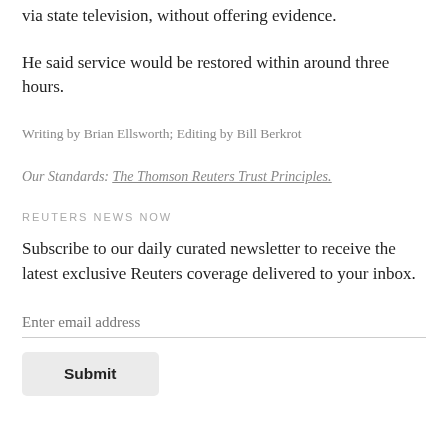via state television, without offering evidence.
He said service would be restored within around three hours.
Writing by Brian Ellsworth; Editing by Bill Berkrot
Our Standards: The Thomson Reuters Trust Principles.
REUTERS NEWS NOW
Subscribe to our daily curated newsletter to receive the latest exclusive Reuters coverage delivered to your inbox.